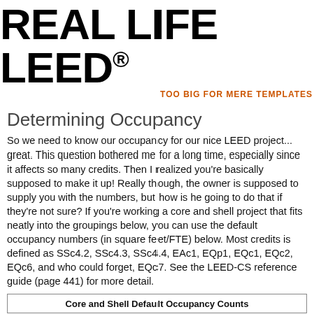REAL LIFE LEED® TOO BIG FOR MERE TEMPLATES
Determining Occupancy
So we need to know our occupancy for our nice LEED project... great. This question bothered me for a long time, especially since it affects so many credits. Then I realized you're basically supposed to make it up! Really though, the owner is supposed to supply you with the numbers, but how is he going to do that if they're not sure? If you're working a core and shell project that fits neatly into the groupings below, you can use the default occupancy numbers (in square feet/FTE) below. Most credits is defined as SSc4.2, SSc4.3, SSc4.4, EAc1, EQp1, EQc1, EQc2, EQc6, and who could forget, EQc7. See the LEED-CS reference guide (page 441) for more detail.
Core and Shell Default Occupancy Counts